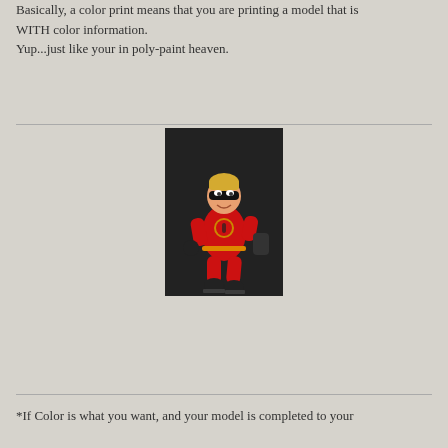Basically, a color print means that you are printing a model that is WITH color information.
Yup...just like your in poly-paint heaven.
[Figure (illustration): A 3D rendered cartoon character resembling Dash from The Incredibles, wearing a red superhero suit with the Incredibles logo on the chest, a black mask, and blonde hair, posed dynamically against a dark background.]
*If Color is what you want, and your model is completed to your